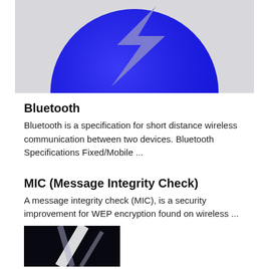[Figure (photo): Blue circular Bluetooth logo with a lightning bolt-like 'B' symbol on a light gray background, cropped to show upper portion]
Bluetooth
Bluetooth is a specification for short distance wireless communication between two devices. Bluetooth Specifications Fixed/Mobile ...
MIC (Message Integrity Check)
A message integrity check (MIC), is a security improvement for WEP encryption found on wireless ...
[Figure (photo): Dark image with bright light beams, partially visible at the bottom of the page]